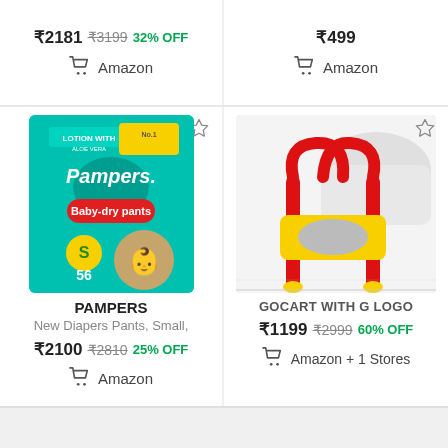₹2181  ₹3199  32% OFF
Amazon
₹499
Amazon
[Figure (photo): Pampers Baby Dry Pants diapers package, size S, 56 count, teal colored box]
PAMPERS
New Diapers Pants, Small,
₹2100  ₹2810  25% OFF
Amazon
[Figure (photo): Yellow and red plastic children's toilet training seat/ladder]
GOCART WITH G LOGO
₹1199  ₹2999  60% OFF
Amazon + 1 Stores